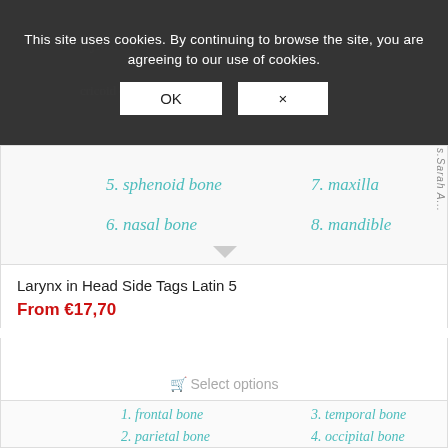[Figure (screenshot): Cookie consent banner overlay on a medical anatomy website showing larynx/cartilage diagram. Banner text: 'This site uses cookies. By continuing to browse the site, you are agreeing to our use of cookies.' with OK and X buttons.]
[Figure (illustration): Anatomy diagram with handwritten teal labels: 5. sphenoid bone, 6. nasal bone, 7. maxilla, 8. mandible. Watermark: s.Sarah A...]
Larynx in Head Side Tags Latin 5
From €17,70
Select options
[Figure (illustration): Anatomy diagram of skull side view with handwritten teal labels: 1. frontal bone, 2. parietal bone, 3. temporal bone, 4. occipital bone, eye socket, mastoid process. Numbers 1, 2 visible inside skull outline.]